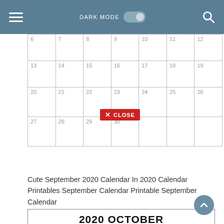DARK MODE [toggle] [search]
[Figure (screenshot): Partial month calendar grid showing dates 6-30 with rounded cell borders, and a red CLOSE button overlay on date 23]
Cute September 2020 Calendar In 2020 Calendar Printables September Calendar Printable September Calendar
| Sun | Mon | Tue | Wed | Thu | Fri | Sat |
| --- | --- | --- | --- | --- | --- | --- |
| 27 | 28 | 29 | 30 | 1 | 2 | 3 |
| 4 | 5 | 6 | 7 | 8 | 9 | 10 |